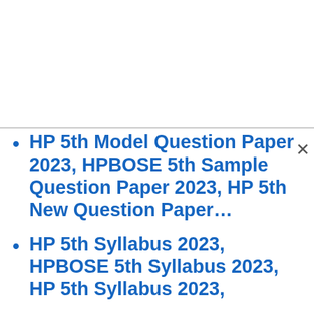HP 5th Model Question Paper 2023, HPBOSE 5th Sample Question Paper 2023, HP 5th New Question Paper…
HP 5th Syllabus 2023, HPBOSE 5th Syllabus 2023, HP 5th Syllabus 2023,
HP 6th Previous Paper 2023, HPBOSE 6th Model Paper 2023, HP